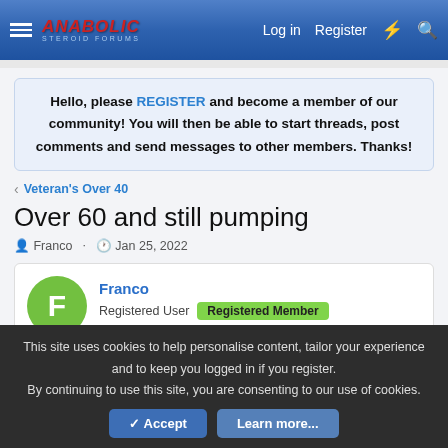Anabolic Steroid Forums — Log in | Register
Hello, please REGISTER and become a member of our community! You will then be able to start threads, post comments and send messages to other members. Thanks!
< Veteran's Over 40
Over 60 and still pumping
Franco · Jan 25, 2022
Franco — Registered User — Registered Member
This site uses cookies to help personalise content, tailor your experience and to keep you logged in if you register. By continuing to use this site, you are consenting to our use of cookies.